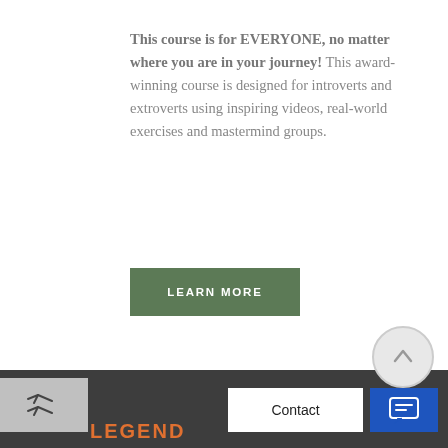[Figure (photo): Top portion of a group photo of people, cropped at the top of the page]
This course is for EVERYONE, no matter where you are in your journey! This award-winning course is designed for introverts and extroverts using inspiring videos, real-world exercises and mastermind groups.
LEARN MORE
[Figure (other): Scroll-to-top circular button with upward arrow]
[Figure (other): Share icon with double arrow in a gray box]
Contact
[Figure (other): Blue chat/message button icon]
LEGEND